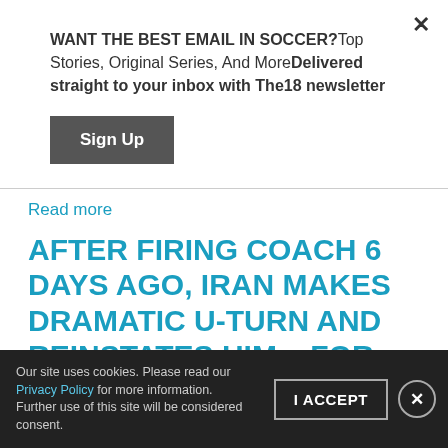WANT THE BEST EMAIL IN SOCCER?Top Stories, Original Series, And MoreDelivered straight to your inbox with The18 newsletter
Sign Up
Read more
AFTER FIRING COACH 6 DAYS AGO, IRAN MAKES DRAMATIC U-TURN AND REINSTATES HIM... FOR NOW
DUBAI - Dragan Skočić has been reinstated as head coach of Iran after a meeting between the board
Our site uses cookies. Please read our Privacy Policy for more information. Further use of this site will be considered consent.
I ACCEPT